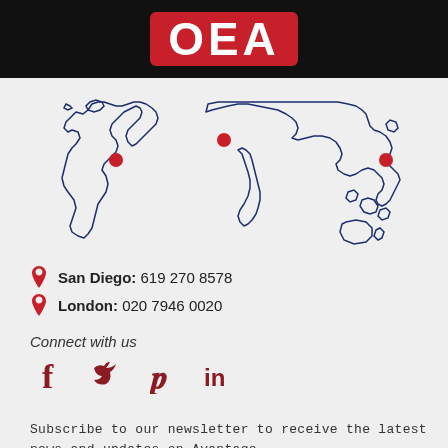[Figure (logo): OEA logo — white bold text on red rounded rectangle background, on black header bar]
[Figure (illustration): Simplified world map outline in dark blue with red dot markers on San Diego (North America west coast) and London (Western Europe), plus additional red dot near Japan/East Asia]
San Diego: 619 270 8578
London: 020 7946 0020
Connect with us
[Figure (infographic): Social media icons: Facebook (f), Twitter (bird), Pinterest (p), LinkedIn (in) — all in dark red/maroon]
Subscribe to our newsletter to receive the latest news and updates on Avantage.